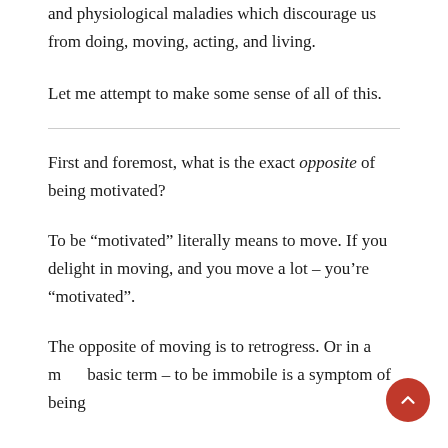and physiological maladies which discourage us from doing, moving, acting, and living.
Let me attempt to make some sense of all of this.
First and foremost, what is the exact opposite of being motivated?
To be “motivated” literally means to move. If you delight in moving, and you move a lot – you’re “motivated”.
The opposite of moving is to retrogress. Or in a more basic term – to be immobile is a symptom of being